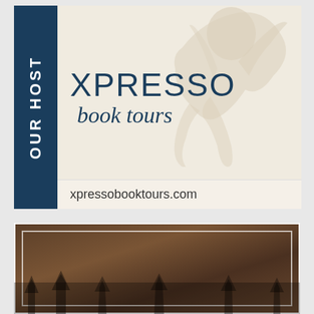[Figure (logo): Xpresso Book Tours logo banner with 'OUR HOST' vertical text on dark blue bar on left, silhouette of person in background, 'XPRESSO book tours' text, and 'xpressobooktours.com' URL bar at bottom]
[Figure (photo): Dark brown book cover with white border frame, partially visible at bottom of page, with silhouettes of trees or figures at bottom]